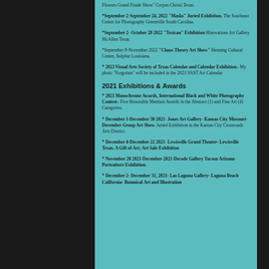Flowers Grand Finale Show" Corpus Christi Texas.
*September 2-September 24, 2022 "Masks" Juried Exhibition. The Southeast Center for Photography Greenville South Carolina.
*September 2- October 28 2022 "Texican" Exhibition Hinovations Art Gallery McAllen Texas
*September 8-November 2022 "Chaos Theory Art Show" Henning Cultural Center, Sulphur Louisiana.
* 2023 Visual Arts Society of Texas Calendar and Calendar Exhibition- My photo "Forgotten" will be included in the 2023 VAST Art Calendar
2021 Exhibitions & Awards
* 2021 Monochrome Awards, International Black and White Photography Contest- Five Honorable Mention Awards in the Abstract (1) and Fine Art (4) Categories.
* December 1-December 30 2021- Jones Art Gallery- Kansas City Missouri- December Group Art Show. Juried Exhibition in the Kansas City Crossroads Arts District.
* December 4-December 22 2021- Lewisville Grand Theater- Lewisville Texas. A Gift of Art; Art Sale Exhibition
* November 20 2021-December 2021-Decode Gallery Tucson Arizona- Portraiture Exhibition.
* December 2- December 31, 2021- Las Laguna Gallery- Laguna Beach California- Botanical Art and Illustration